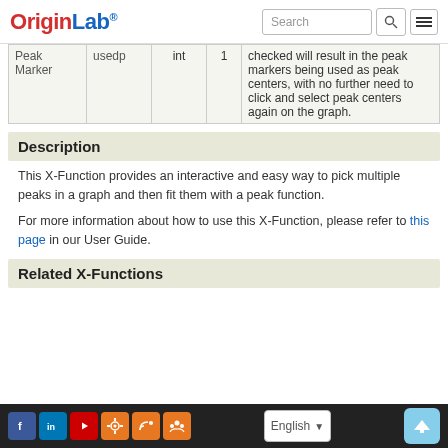OriginLab® [Search bar and navigation]
| Peak Marker | usedp | int | 1 | checked will result in the peak markers being used as peak centers, with no further need to click and select peak centers again on the graph. |
Description
This X-Function provides an interactive and easy way to pick multiple peaks in a graph and then fit them with a peak function.
For more information about how to use this X-Function, please refer to this page in our User Guide.
Related X-Functions
Social icons | English language selector | Up button